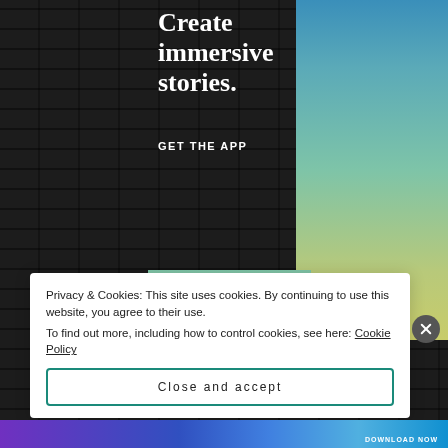[Figure (screenshot): App advertisement banner with gradient background (blue to yellow-green) showing text 'Create immersive stories.' and 'GET THE APP' with a smartphone mockup at the bottom, set against a dark brick wall background]
Privacy & Cookies: This site uses cookies. By continuing to use this website, you agree to their use.
To find out more, including how to control cookies, see here: Cookie Policy
Close and accept